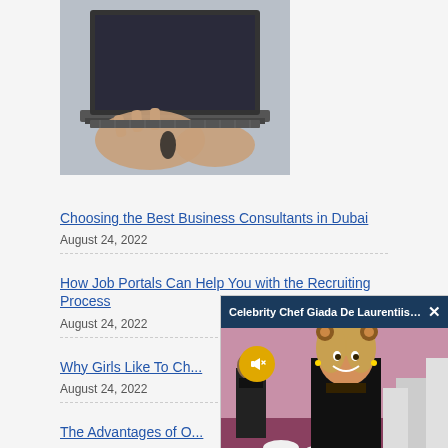[Figure (photo): Hands typing on a laptop keyboard, close-up photo]
Choosing the Best Business Consultants in Dubai
August 24, 2022
How Job Portals Can Help You with the Recruiting Process
August 24, 2022
Why Girls Like To Ch...
August 24, 2022
The Advantages of O...
[Figure (screenshot): Popup overlay showing Celebrity Chef Giada De Laurentiis video with mute button and close X button, over an image of the chef at a food event]